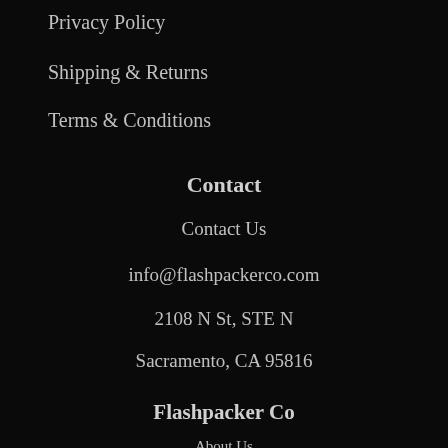Privacy Policy
Shipping & Returns
Terms & Conditions
Contact
Contact Us
info@flashpackerco.com
2108 N St, STE N
Sacramento, CA 95816
Flashpacker Co
About Us
FAQ
Work With Us